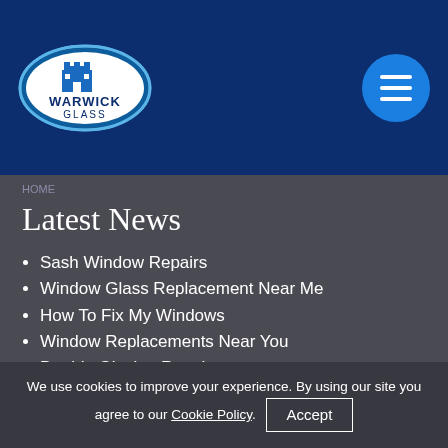[Figure (logo): Warwick Glass logo — white oval with blue castle icon and text 'WARWICK GLASS']
[Figure (other): Blue circular hamburger menu button with three white horizontal lines]
HOME
Latest News
Sash Window Repairs
Window Glass Replacement Near Me
How To Fix My Windows
Window Replacements Near You
Double Glazing Repairs
Contact Us
We use cookies to improve your experience. By using our site you agree to our Cookie Policy.